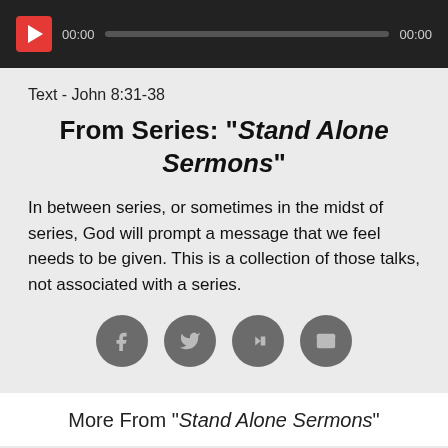[Figure (other): Audio player bar with play button, time 00:00, progress bar, and end time 00:00]
Text - John 8:31-38
From Series: "Stand Alone Sermons"
In between series, or sometimes in the midst of series, God will prompt a message that we feel needs to be given. This is a collection of those talks, not associated with a series.
[Figure (infographic): Four social sharing icon buttons: Facebook, Twitter, Share/Forward, Email — gray circles with icons]
More From "Stand Alone Sermons"
Easter 2012
Pastor Shawn Allen
April 11, 2011